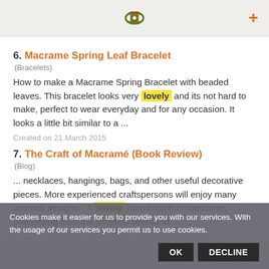[Logo icon + plus button]
6. Macrame Spring Leaf Bracelet (Bracelets) — How to make a Macrame Spring Bracelet with beaded leaves. This bracelet looks very lovely and its not hard to make, perfect to wear everyday and for any occasion. It looks a little bit similar to a ... Created on 21 March 2015
7. The Craft of Macramé (Book Review) (Blog) — ... necklaces, hangings, bags, and other useful decorative pieces. More experienced craftspersons will enjoy many unusual designs. "A lovely introduction to macrame, proceeding from the simplest overhand.
Cookies make it easier for us to provide you with our services. With the usage of our services you permit us to use cookies.